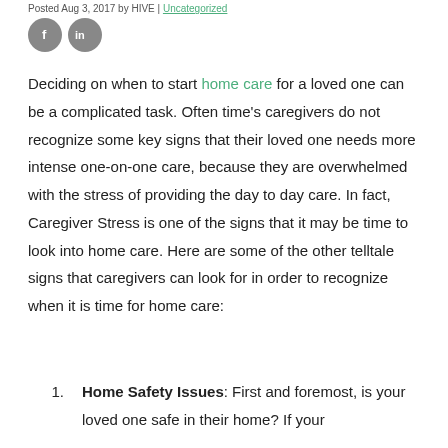Posted Aug 3, 2017 by HIVE | Uncategorized
[Figure (illustration): Two circular social media icon buttons: Facebook (f) and LinkedIn (in), both grey]
Deciding on when to start home care for a loved one can be a complicated task. Often time's caregivers do not recognize some key signs that their loved one needs more intense one-on-one care, because they are overwhelmed with the stress of providing the day to day care. In fact, Caregiver Stress is one of the signs that it may be time to look into home care. Here are some of the other telltale signs that caregivers can look for in order to recognize when it is time for home care:
Home Safety Issues: First and foremost, is your loved one safe in their home? If your